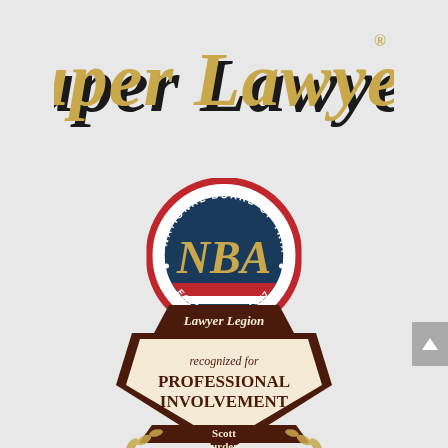[Figure (logo): Super Lawyers logo in gold italic serif font with dark drop shadow]
[Figure (logo): National Board of Trial Advocacy (NBTA) circular seal badge. Navy blue circle with gold NBTA monogram initials, red/white outer ring with text 'NATIONAL BOARD OF TRIAL ADVOCACY' and 'ESTABLISHED 1977'. Red and blue stripes at the bottom of the inner circle.]
[Figure (logo): Lawyer Legion badge for Professional Involvement. Dark brown hexagonal shield shape with cream/beige center panel. Text reads: 'Lawyer Legion', 'recognized for', 'PROFESSIONAL INVOLVEMENT', 'Scott Jurdem'. Gold wheat/laurel branches at bottom.]